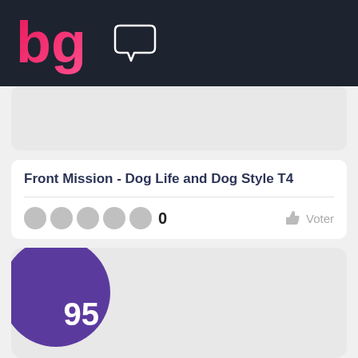bg (logo) + chat bubble icon
[Figure (screenshot): Top gray image card placeholder]
Front Mission - Dog Life and Dog Style T4
0  Voter
[Figure (screenshot): Large gray card with purple score badge showing '95']